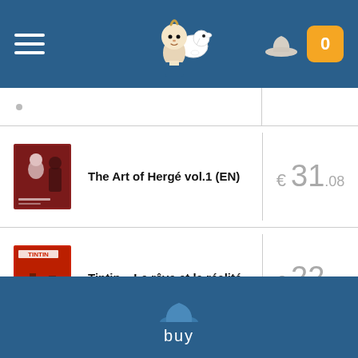[Figure (screenshot): App header bar with hamburger menu, Tintin and Milou logo in center, hat icon and orange cart badge showing 0 on the right]
| Product | Price |
| --- | --- |
| The Art of Hergé vol.1 (EN) | € 31.08 |
| Tintin – Le rêve et la réalité | € 22.73 |
buy